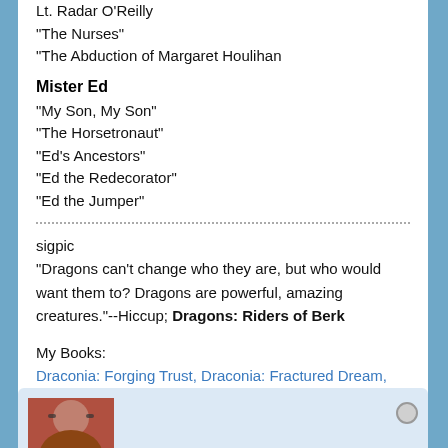Lt. Radar O'Reilly
"The Nurses"
"The Abduction of Margaret Houlihan
Mister Ed
"My Son, My Son"
"The Horsetronaut"
"Ed's Ancestors"
"Ed the Redecorator"
"Ed the Jumper"
sigpic
"Dragons can't change who they are, but who would want them to? Dragons are powerful, amazing creatures."--Hiccup; Dragons: Riders of Berk
My Books:
Draconia: Forging Trust, Draconia: Fractured Dream, Draconia: Rehatching
[Figure (photo): Profile photo thumbnail showing a person with dark hair and glasses, partially visible]